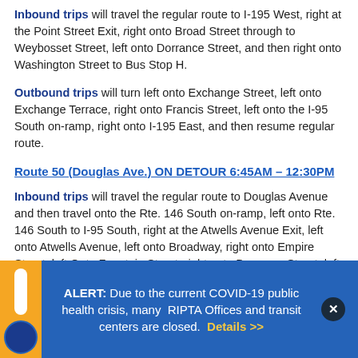Inbound trips will travel the regular route to I-195 West, right at the Point Street Exit, right onto Broad Street through to Weybosset Street, left onto Dorrance Street, and then right onto Washington Street to Bus Stop H.
Outbound trips will turn left onto Exchange Street, left onto Exchange Terrace, right onto Francis Street, left onto the I-95 South on-ramp, right onto I-195 East, and then resume regular route.
Route 50 (Douglas Ave.) ON DETOUR 6:45AM – 12:30PM
Inbound trips will travel the regular route to Douglas Avenue and then travel onto the Rte. 146 South on-ramp, left onto Rte. 146 South to I-95 South, right at the Atwells Avenue Exit, left onto Atwells Avenue, left onto Broadway, right onto Empire Street, left Onto Fountain Street, right onto Dorrance Street, left onto Washington Street to Bus Stop J.
ALERT: Due to the current COVID-19 public health crisis, many RIPTA Offices and transit centers are closed. Details >>